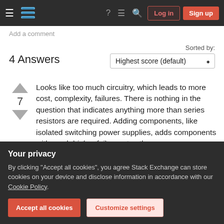Stack Exchange navigation bar with hamburger menu, logo, help, chat, search icons, Log in and Sign up buttons
Add a comment
4 Answers
Sorted by: Highest score (default)
Looks like too much circuitry, which leads to more cost, complexity, failures. There is nothing in the question that indicates anything more than series resistors are required. Adding components, like isolated switching power supplies, adds components with much higher failure rates than a
Your privacy
By clicking "Accept all cookies", you agree Stack Exchange can store cookies on your device and disclose information in accordance with our Cookie Policy.
Accept all cookies   Customize settings